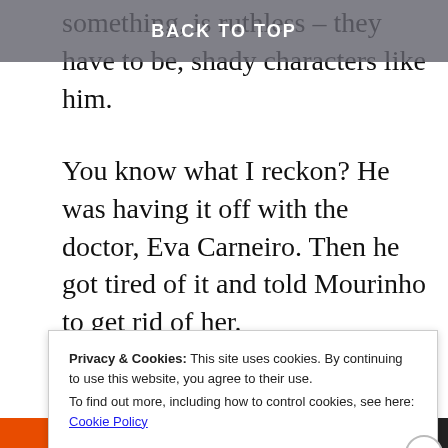BACK TO TOP
something, is ruthless – they have to be, shady characters like him.
You know what I reckon? He was having it off with the doctor, Eva Carneiro. Then he got tired of it and told Mourinho to get rid of her.
Like Bill Shankly said, Baz, the only thing
Privacy & Cookies: This site uses cookies. By continuing to use this website, you agree to their use.
To find out more, including how to control cookies, see here: Cookie Policy
Close and accept